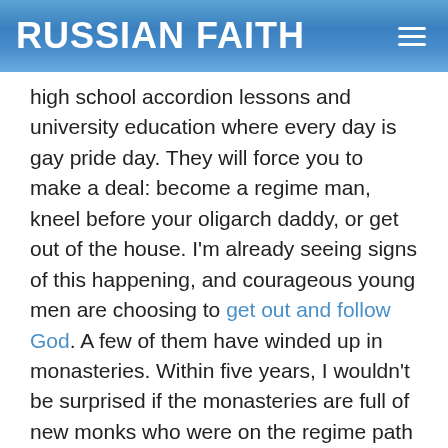RUSSIAN FAITH
high school accordion lessons and university education where every day is gay pride day. They will force you to make a deal: become a regime man, kneel before your oligarch daddy, or get out of the house. I'm already seeing signs of this happening, and courageous young men are choosing to get out and follow God. A few of them have winded up in monasteries. Within five years, I wouldn't be surprised if the monasteries are full of new monks who were on the regime path but refused it to serve God.
If you're a secular person who has no problem with vaccines or marketing to human passion in order to make a buck, you won't chafe at what I